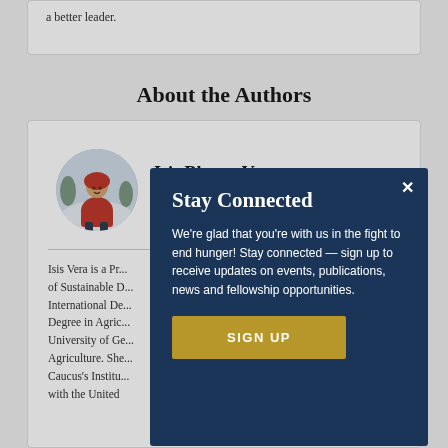a better leader.
About the Authors
[Figure (photo): Circular portrait photo of Isis Blanco Vera, a person wearing a red hoodie jacket, standing outdoors in a snowy setting]
Isis Blanco Vera
Isis Vera is a Pr... of Sustainable D... International De... Degree in Agric... University of Ge... Agriculture. She... Caucus's Institu... with the United
Stay Connected

We're glad that you're with us in the fight to end hunger! Stay connected — sign up to receive updates on events, publications, news and fellowship opportunities.

SIGN UP